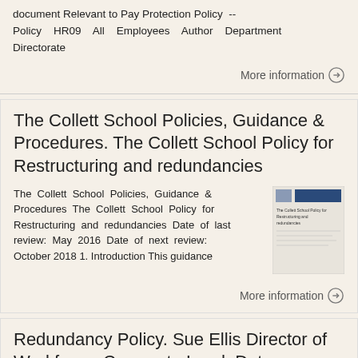document Relevant to Pay Protection Policy -- Policy HR09 All Employees Author Department Directorate
More information →
The Collett School Policies, Guidance & Procedures. The Collett School Policy for Restructuring and redundancies
The Collett School Policies, Guidance & Procedures The Collett School Policy for Restructuring and redundancies Date of last review: May 2016 Date of next review: October 2018 1. Introduction This guidance
[Figure (other): Thumbnail image of The Collett School Policy for Restructuring and redundancies document cover]
More information →
Redundancy Policy. Sue Ellis Director of Workforce. Corporate Lead. Date approved